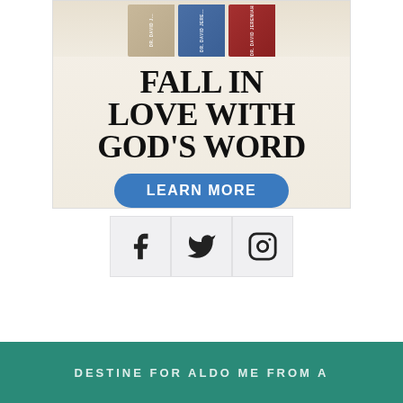[Figure (illustration): Advertisement banner with three Bible books (tan, blue, red) by Dr. David Jeremiah, headline text 'FALL IN LOVE WITH GOD'S WORD', and a blue 'LEARN MORE' button on a cream/beige background]
[Figure (illustration): Three social media icon buttons in light gray boxes: Facebook (f), Twitter (bird), Instagram (camera outline)]
FALL IN LOVE WITH GOD'S WORD
LEARN MORE
DESTINE FOR ALDO ME FROM A